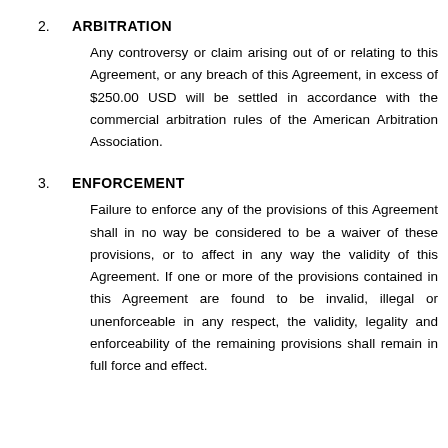2. ARBITRATION
Any controversy or claim arising out of or relating to this Agreement, or any breach of this Agreement, in excess of $250.00 USD will be settled in accordance with the commercial arbitration rules of the American Arbitration Association.
3. ENFORCEMENT
Failure to enforce any of the provisions of this Agreement shall in no way be considered to be a waiver of these provisions, or to affect in any way the validity of this Agreement. If one or more of the provisions contained in this Agreement are found to be invalid, illegal or unenforceable in any respect, the validity, legality and enforceability of the remaining provisions shall remain in full force and effect.